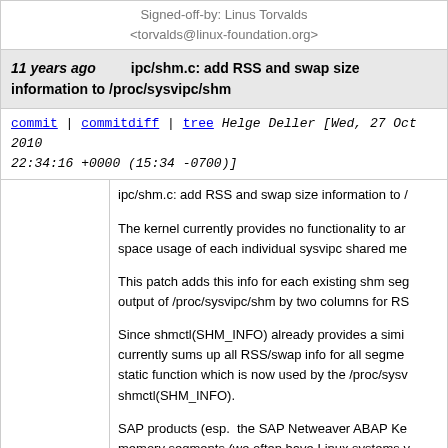Signed-off-by: Linus Torvalds <torvalds@linux-foundation.org>
11 years ago   ipc/shm.c: add RSS and swap size information to /proc/sysvipc/shm
commit | commitdiff | tree   Helge Deller [Wed, 27 Oct 2010 22:34:16 +0000 (15:34 -0700)]
ipc/shm.c: add RSS and swap size information to /proc/sysvipc/shm

The kernel currently provides no functionality to an application to query the space usage of each individual sysvipc shared me...

This patch adds this info for each existing shm seg... output of /proc/sysvipc/shm by two columns for RS...

Since shmctl(SHM_INFO) already provides a simi... currently sums up all RSS/swap info for all segme... static function which is now used by the /proc/sysv... shmctl(SHM_INFO).

SAP products (esp. the SAP Netweaver ABAP Ke... memory segments (we often have Linux systems ... Sometimes we get customer reports about "slow"... looking into their configurations we often find mass... on the system.  With this patch it's now easy to se... if and which shm segments gets swapped out (an... easily give recommendations for system tuning.  W... currently not possible to do such shm analysis at a...